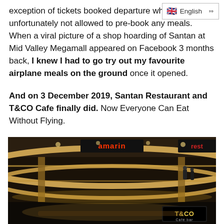exception of tickets booked … departure when I'm unfortunately not allowed to pre-book any meals. When a viral picture of a shop hoarding of Santan at Mid Valley Megamall appeared on Facebook 3 months back, I knew I had to go try out my favourite airplane meals on the ground once it opened.
And on 3 December 2019, Santan Restaurant and T&CO Cafe finally did. Now Everyone Can Eat Without Flying.
[Figure (photo): Interior photo of Mid Valley Megamall showing the atrium with curved balconies. Red 'amarin' sign visible at top centre, 'T&CO' cafe sign visible at bottom right.]